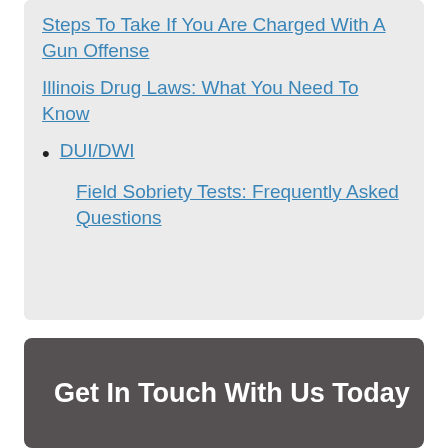Steps To Take If You Are Charged With A Gun Offense
Illinois Drug Laws: What You Need To Know
DUI/DWI
Field Sobriety Tests: Frequently Asked Questions
Get In Touch With Us Today